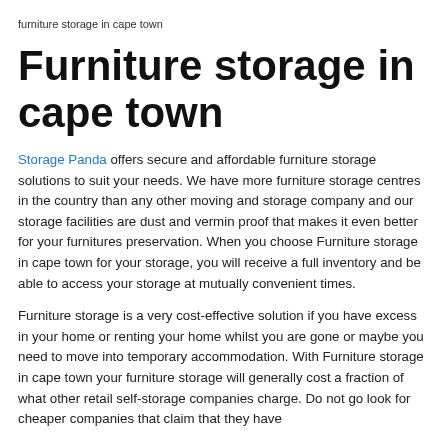furniture storage in cape town
Furniture storage in cape town
Storage Panda offers secure and affordable furniture storage solutions to suit your needs. We have more furniture storage centres in the country than any other moving and storage company and our storage facilities are dust and vermin proof that makes it even better for your furnitures preservation. When you choose Furniture storage in cape town for your storage, you will receive a full inventory and be able to access your storage at mutually convenient times.
Furniture storage is a very cost-effective solution if you have excess in your home or renting your home whilst you are gone or maybe you need to move into temporary accommodation. With Furniture storage in cape town your furniture storage will generally cost a fraction of what other retail self-storage companies charge. Do not go look for cheaper companies that claim that they have